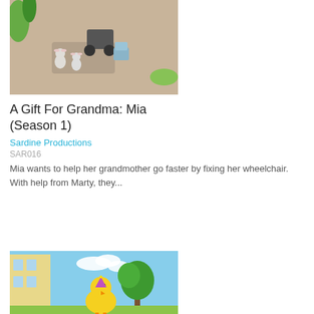[Figure (photo): Animated scene showing cartoon mouse-like characters near a wheelchair and toys on a sandy ground with green plants]
A Gift For Grandma: Mia (Season 1)
Sardine Productions
SAR016
Mia wants to help her grandmother go faster by fixing her wheelchair. With help from Marty, they...
[Figure (photo): Animated scene showing a yellow cartoon chick character on a street with buildings and green tree in background]